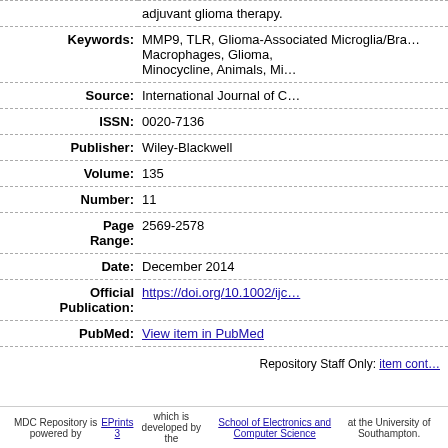| Field | Value |
| --- | --- |
|  | adjuvant glioma therapy. |
| Keywords: | MMP9, TLR, Glioma-Associated Microglia/Brain Macrophages, Glioma, Minocycline, Animals, Mi… |
| Source: | International Journal of C… |
| ISSN: | 0020-7136 |
| Publisher: | Wiley-Blackwell |
| Volume: | 135 |
| Number: | 11 |
| Page Range: | 2569-2578 |
| Date: | December 2014 |
| Official Publication: | https://doi.org/10.1002/ijc… |
| PubMed: | View item in PubMed |
Repository Staff Only: item cont…
MDC Repository is powered by EPrints 3 which is developed by the School of Electronics and Computer Science at the University of Southampton.